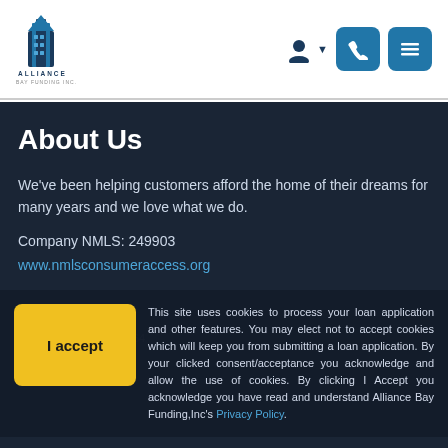Alliance Bay Funding Inc. — navigation header with logo, user icon, phone button, menu button
About Us
We've been helping customers afford the home of their dreams for many years and we love what we do.
Company NMLS: 249903
www.nmlsconsumeraccess.org
Contact Us
37600 Central Ct. Ste 264
NEWARK, CA 94560
Phone: 510.422.2686
alloa.loangemil.com
I accept — This site uses cookies to process your loan application and other features. You may elect not to accept cookies which will keep you from submitting a loan application. By your clicked consent/acceptance you acknowledge and allow the use of cookies. By clicking I Accept you acknowledge you have read and understand Alliance Bay Funding,Inc's Privacy Policy.